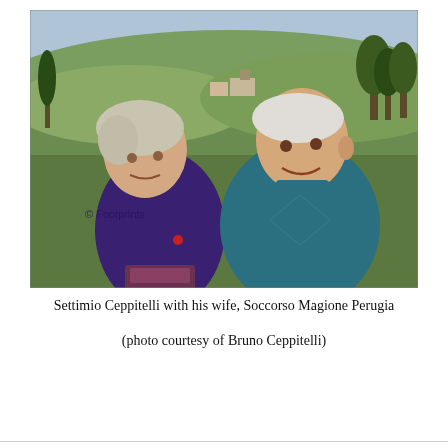[Figure (photo): Photograph of an elderly couple standing outdoors. The woman is on the left wearing a dark purple top, and the man is on the right wearing a teal/blue sweater. Rural Italian landscape with hills, trees, and buildings visible in the background. A watermark reading '© Footprints' is visible in the lower left of the photo.]
Settimio Ceppitelli with his wife, Soccorso Magione Perugia

(photo courtesy of Bruno Ceppitelli)